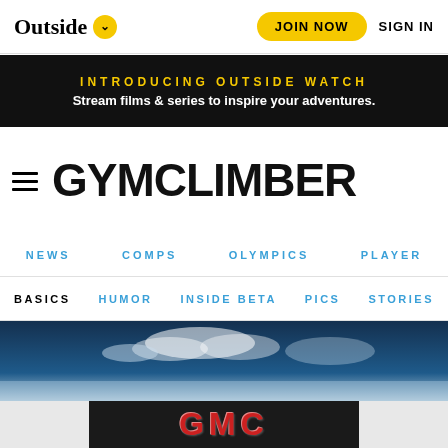Outside ∨   JOIN NOW   SIGN IN
[Figure (screenshot): Black promotional banner: INTRODUCING OUTSIDE WATCH / Stream films & series to inspire your adventures.]
[Figure (logo): GYMCLIMBER logo with hamburger menu icon]
NEWS   COMPS   OLYMPICS   PLAYER
BASICS   HUMOR   INSIDE BETA   PICS   STORIES
[Figure (photo): Dark blue sky with clouds hero image]
[Figure (screenshot): GMC advertisement banner on dark background]